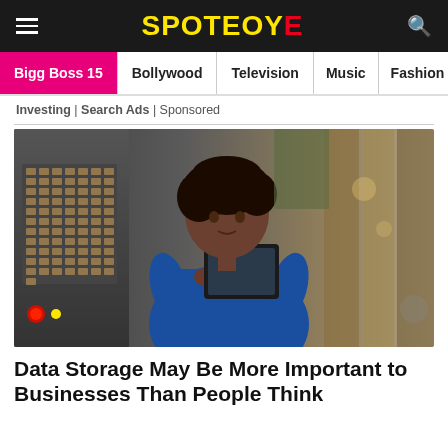SPOTEOY E
Bigg Boss 15 | Bollywood | Television | Music | Fashion
Investing | Search Ads | Sponsored
[Figure (photo): A woman in a blue work uniform holding a tablet computer in an industrial setting with control panels in the background.]
Data Storage May Be More Important to Businesses Than People Think